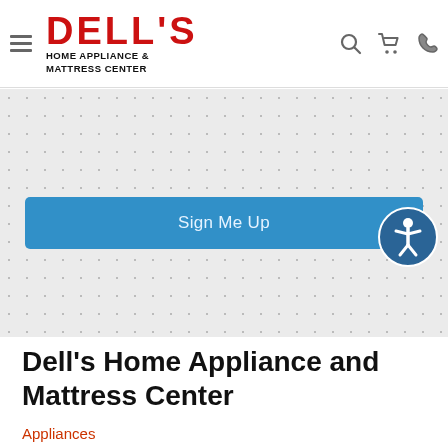Dell's Home Appliance & Mattress Center — navigation header with hamburger menu, logo, search, cart, and phone icons
[Figure (screenshot): Dotted/speckled grey background pattern area with a blue 'Sign Me Up' button centered within it, and a circular accessibility icon in the lower-right corner]
Dell's Home Appliance and Mattress Center
Appliances